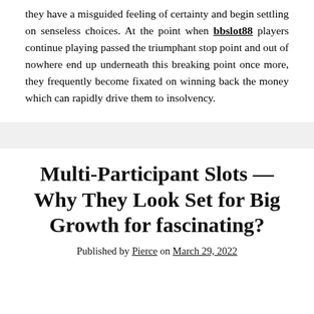they have a misguided feeling of certainty and begin settling on senseless choices. At the point when bbslot88 players continue playing passed the triumphant stop point and out of nowhere end up underneath this breaking point once more, they frequently become fixated on winning back the money which can rapidly drive them to insolvency.
Multi-Participant Slots — Why They Look Set for Big Growth for fascinating?
Published by Pierce on March 29, 2022